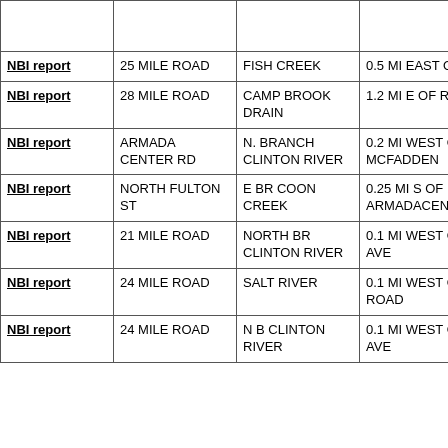|  |  |  |  |
| --- | --- | --- | --- |
|  |  |  |  |
| NBI report | 25 MILE ROAD | FISH CREEK | 0.5 MI EAST OF GRA |
| NBI report | 28 MILE ROAD | CAMP BROOK DRAIN | 1.2 MI E OF ROMEO |
| NBI report | ARMADA CENTER RD | N. BRANCH CLINTON RIVER | 0.2 MI WEST OF MCFADDEN |
| NBI report | NORTH FULTON ST | E BR COON CREEK | 0.25 MI S OF ARMADACENTER |
| NBI report | 21 MILE ROAD | NORTH BR CLINTON RIVER | 0.1 MI WEST OF NO AVE |
| NBI report | 24 MILE ROAD | SALT RIVER | 0.1 MI WEST OF BA ROAD |
| NBI report | 24 MILE ROAD | N B CLINTON RIVER | 0.1 MI WEST OF NO AVE |